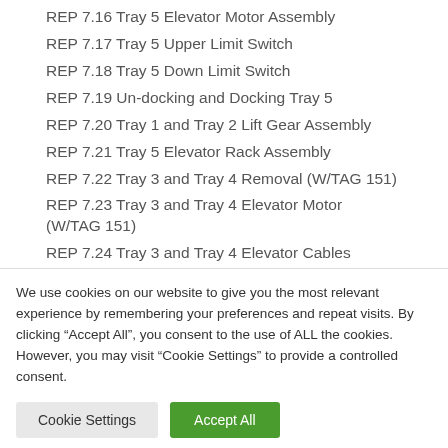REP 7.16 Tray 5 Elevator Motor Assembly
REP 7.17 Tray 5 Upper Limit Switch
REP 7.18 Tray 5 Down Limit Switch
REP 7.19 Un-docking and Docking Tray 5
REP 7.20 Tray 1 and Tray 2 Lift Gear Assembly
REP 7.21 Tray 5 Elevator Rack Assembly
REP 7.22 Tray 3 and Tray 4 Removal (W/TAG 151)
REP 7.23 Tray 3 and Tray 4 Elevator Motor (W/TAG 151)
REP 7.24 Tray 3 and Tray 4 Elevator Cables (W/TAG 151)
We use cookies on our website to give you the most relevant experience by remembering your preferences and repeat visits. By clicking “Accept All”, you consent to the use of ALL the cookies. However, you may visit “Cookie Settings” to provide a controlled consent.